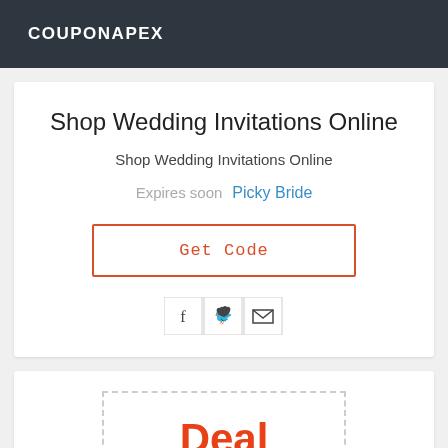COUPONAPEX
Shop Wedding Invitations Online
Shop Wedding Invitations Online
Expires soon  Picky Bride
Get Code
[Figure (other): Social sharing icons: Facebook (f), Twitter (bird), Email (envelope)]
Deal